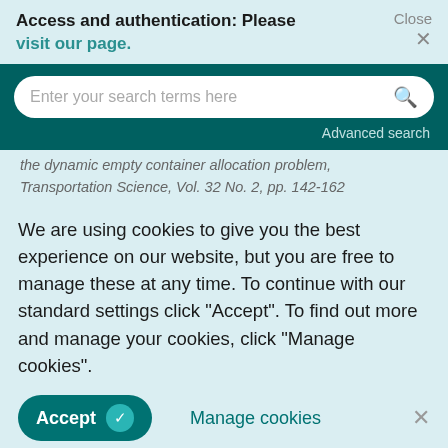Access and authentication: Please visit our page.   Close ×
[Figure (screenshot): Search bar with placeholder text 'Enter your search terms here' and a magnifying glass icon, on a dark teal background, with 'Advanced search' link below]
the dynamic empty container allocation problem, Transportation Science, Vol. 32 No. 2, pp. 142-162
We are using cookies to give you the best experience on our website, but you are free to manage these at any time. To continue with our standard settings click "Accept". To find out more and manage your cookies, click "Manage cookies".
Accept   Manage cookies   ×
"Dynamic and stochastic models for the allocation of empty containers", Operations Research, Vol. 41 No.